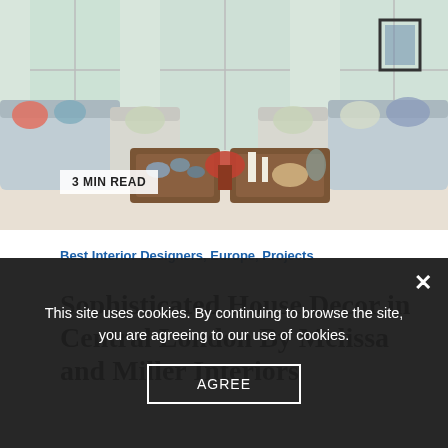[Figure (photo): Living room interior with light grey sofas, orange and blue patterned cushions, wooden coffee table with tray, and large windows]
3 MIN READ
Best Interior Designers, Europe, Projects
Sophisticated House Decor in Central London By Melissa and Miller Interiors
This site uses cookies. By continuing to browse the site, you are agreeing to our use of cookies.
AGREE